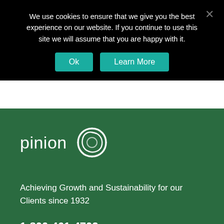We use cookies to ensure that we give you the best experience on our website. If you continue to use this site we will assume that you are happy with it.
[Figure (screenshot): Cookie consent dialog with Ok and Learn More buttons on black background]
[Figure (logo): Pinion logo: white text 'pinion' with a white circular swirl/pinwheel icon on green background]
Achieving Growth and Sustainability for our Clients since 1932
1-800-461-4702